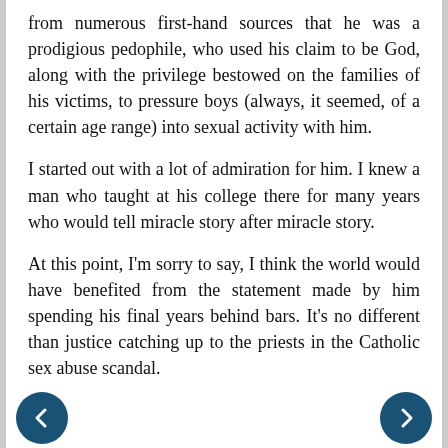from numerous first-hand sources that he was a prodigious pedophile, who used his claim to be God, along with the privilege bestowed on the families of his victims, to pressure boys (always, it seemed, of a certain age range) into sexual activity with him.
I started out with a lot of admiration for him. I knew a man who taught at his college there for many years who would tell miracle story after miracle story.
At this point, I'm sorry to say, I think the world would have benefited from the statement made by him spending his final years behind bars. It's no different than justice catching up to the priests in the Catholic sex abuse scandal.